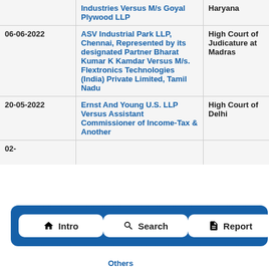| Date | Case | Court |
| --- | --- | --- |
|  | Industries Versus M/s Goyal Plywood LLP | Haryana |
| 06-06-2022 | ASV Industrial Park LLP, Chennai, Represented by its designated Partner Bharat Kumar K Kamdar Versus M/s. Flextronics Technologies (India) Private Limited, Tamil Nadu | High Court of Judicature at Madras |
| 20-05-2022 | Ernst And Young U.S. LLP Versus Assistant Commissioner of Income-Tax & Another | High Court of Delhi |
| 02-... | ... | ... |
[Figure (infographic): Navigation bar with three buttons: Intro (home icon), Search (magnifying glass icon), Report (document icon), overlaid on blue dashed-border panel]
Others